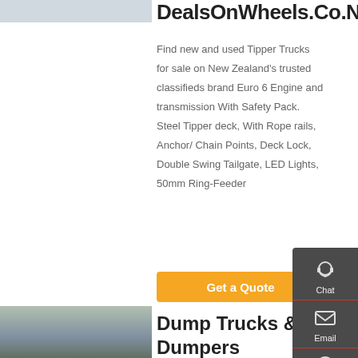[Figure (photo): Partial truck/vehicle image at top left]
DealsOnWheels.Co.N
Find new and used Tipper Trucks for sale on New Zealand's trusted classifieds brand Euro 6 Engine and transmission With Safety Pack. Steel Tipper deck, With Rope rails, Anchor/ Chain Points, Deck Lock, Double Swing Tailgate, LED Lights, 50mm Ring-Feeder
Get a Quote
[Figure (photo): Green dump truck parked outdoors with trees in background]
Dump Trucks & Dumpers Equipment